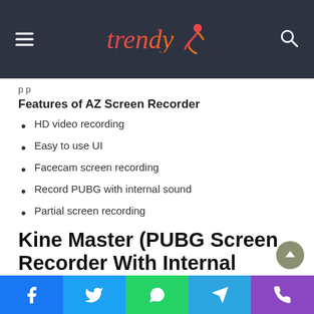Trendy [logo with figure]
p p
Features of AZ Screen Recorder
HD video recording
Easy to use UI
Facecam screen recording
Record PUBG with internal sound
Partial screen recording
Kine Master (PUBG Screen Recorder With Internal Sound)
Facebook | Twitter | WhatsApp | Telegram | Phone